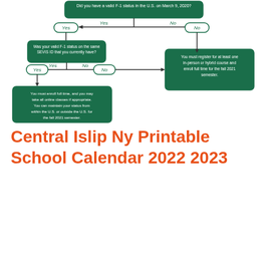[Figure (flowchart): Flowchart: Did you have a valid F-1 status in the U.S. on March 9, 2020? Yes branch leads to: Was your valid F-1 status on the same SEVIS ID that you currently have? Yes branch leads to: You must enroll full time, and you may take all online classes if appropriate. You can maintain your status from within the U.S. or outside the U.S. for the fall 2021 semester. No branch leads to: You must register for at least one in-person or hybrid course and enroll full time for the fall 2021 semester.]
Central Islip Ny Printable School Calendar 2022 2023